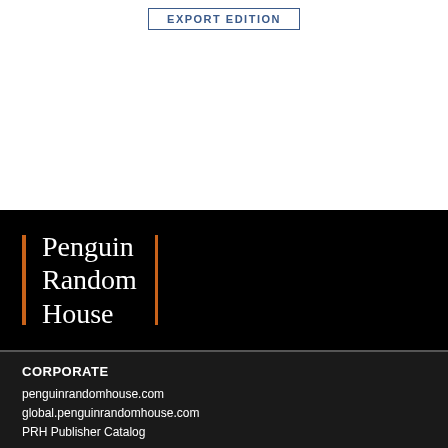EXPORT EDITION
[Figure (logo): Penguin Random House logo — white serif text 'Penguin Random House' flanked by orange vertical bars on a black background]
CORPORATE
penguinrandomhouse.com
global.penguinrandomhouse.com
PRH Publisher Catalog